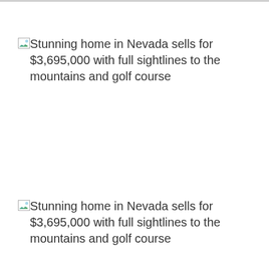Stunning home in Nevada sells for $3,695,000 with full sightlines to the mountains and golf course
Stunning home in Nevada sells for $3,695,000 with full sightlines to the mountains and golf course